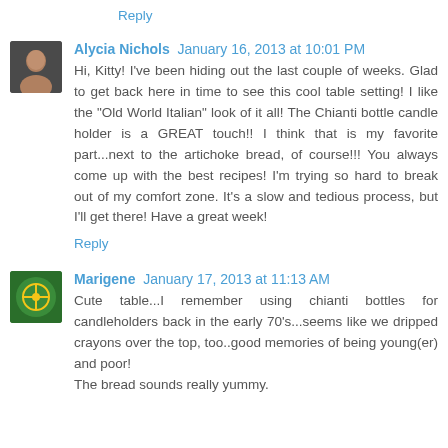Reply
Alycia Nichols  January 16, 2013 at 10:01 PM
Hi, Kitty! I've been hiding out the last couple of weeks. Glad to get back here in time to see this cool table setting! I like the "Old World Italian" look of it all! The Chianti bottle candle holder is a GREAT touch!! I think that is my favorite part...next to the artichoke bread, of course!!! You always come up with the best recipes! I'm trying so hard to break out of my comfort zone. It's a slow and tedious process, but I'll get there! Have a great week!
Reply
Marigene  January 17, 2013 at 11:13 AM
Cute table...I remember using chianti bottles for candleholders back in the early 70's...seems like we dripped crayons over the top, too..good memories of being young(er) and poor!
The bread sounds really yummy.